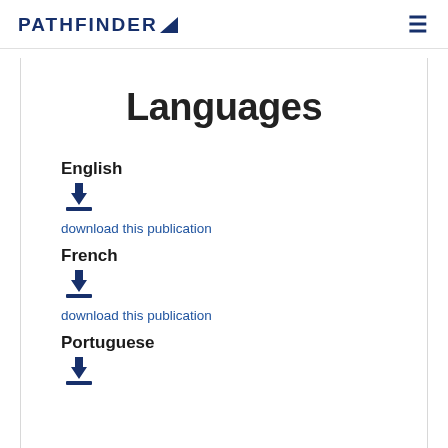PATHFINDER
Languages
English
download this publication
French
download this publication
Portuguese